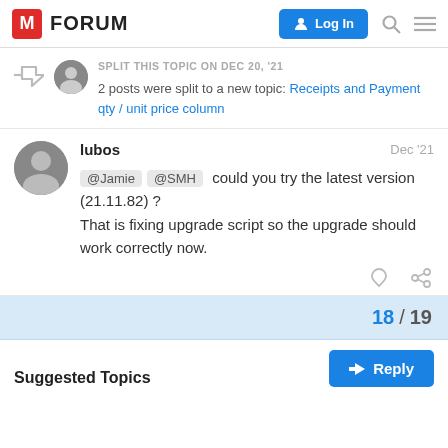M FORUM | Log In
SPLIT THIS TOPIC ON DEC 20, '21
2 posts were split to a new topic: Receipts and Payment qty / unit price column
lubos  Dec '21
@Jamie @SMH could you try the latest version (21.11.82) ? That is fixing upgrade script so the upgrade should work correctly now.
18 / 19
Suggested Topics